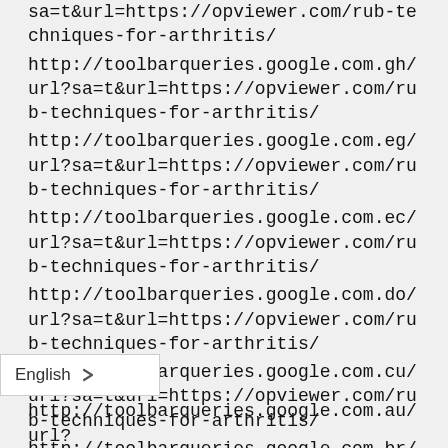sa=t&url=https://opviewer.com/rub-techniques-for-arthritis/
http://toolbarqueries.google.com.gh/url?sa=t&url=https://opviewer.com/rub-techniques-for-arthritis/
http://toolbarqueries.google.com.eg/url?sa=t&url=https://opviewer.com/rub-techniques-for-arthritis/
http://toolbarqueries.google.com.ec/url?sa=t&url=https://opviewer.com/rub-techniques-for-arthritis/
http://toolbarqueries.google.com.do/url?sa=t&url=https://opviewer.com/rub-techniques-for-arthritis/
http://toolbarqueries.google.com.cu/url?sa=t&url=https://opviewer.com/rub-techniques-for-arthritis/
http://toolbarqueries.google.com.br/url?sa=t&url=https://opviewer.com/rub-techniques-for-arthritis/
http://toolbarqueries.google.com.au/url?